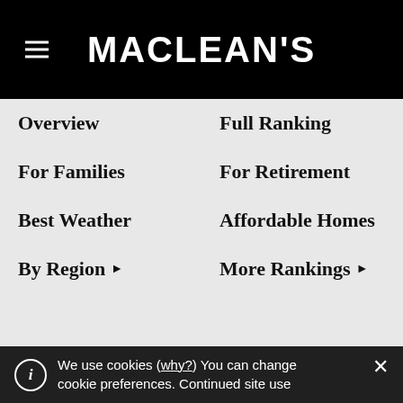MACLEAN'S
Overview
Full Ranking
For Families
For Retirement
Best Weather
Affordable Homes
By Region ▶
More Rankings ▶
[Figure (photo): Victorian-era row houses photographed through bare winter trees, brick facades with ornate detailing, multiple stories, grey sky background]
We use cookies (why?) You can change cookie preferences. Continued site use